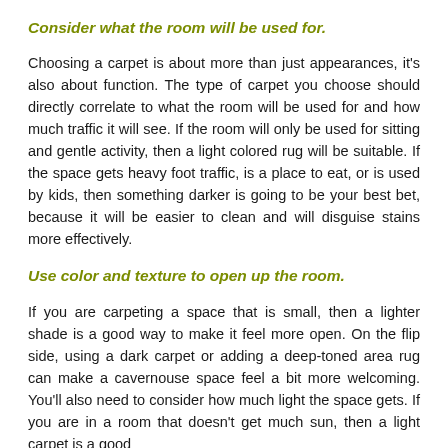Consider what the room will be used for.
Choosing a carpet is about more than just appearances, it's also about function. The type of carpet you choose should directly correlate to what the room will be used for and how much traffic it will see. If the room will only be used for sitting and gentle activity, then a light colored rug will be suitable. If the space gets heavy foot traffic, is a place to eat, or is used by kids, then something darker is going to be your best bet, because it will be easier to clean and will disguise stains more effectively.
Use color and texture to open up the room.
If you are carpeting a space that is small, then a lighter shade is a good way to make it feel more open. On the flip side, using a dark carpet or adding a deep-toned area rug can make a cavernouse space feel a bit more welcoming. You'll also need to consider how much light the space gets. If you are in a room that doesn't get much sun, then a light carpet is a good